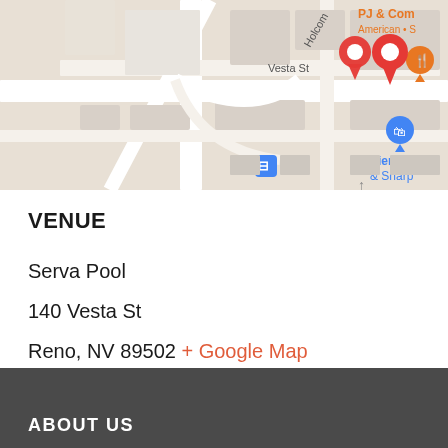[Figure (map): Google Maps screenshot showing the area around 140 Vesta St, Reno, NV 89502. Visible landmarks include AutoZone Auto Parts (Auto parts store), PJ & Com (American restaurant), Sierra P & Sharp, and a bus stop icon. A red location pin marks the venue location on Vesta St near Holcomb.]
VENUE
Serva Pool
140 Vesta St
Reno, NV 89502 + Google Map
ABOUT US